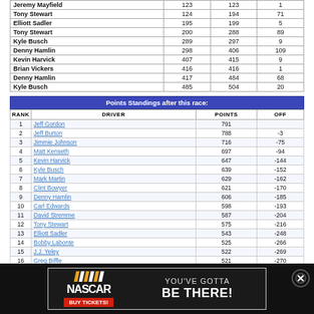| Driver |  |  |  |
| --- | --- | --- | --- |
| Jeremy Mayfield | 123 | 123 | 1 |
| Tony Stewart | 124 | 194 | 71 |
| Elliott Sadler | 195 | 199 | 5 |
| Tony Stewart | 200 | 288 | 89 |
| Kyle Busch | 289 | 297 | 9 |
| Denny Hamlin | 298 | 406 | 109 |
| Kevin Harvick | 407 | 415 | 9 |
| Brian Vickers | 416 | 416 | 1 |
| Denny Hamlin | 417 | 484 | 68 |
| Kyle Busch | 485 | 504 | 20 |
| Points Standings after this race: |  |  |  |
| --- | --- | --- | --- |
| 1 | Jeff Gordon | 791 |  |
| 2 | Jeff Burton | 788 | -3 |
| 3 | Jimmie Johnson | 716 | -75 |
| 4 | Matt Kenseth | 697 | -94 |
| 5 | Kevin Harvick | 647 | -144 |
| 6 | Kyle Busch | 639 | -152 |
| 7 | Mark Martin | 629 | -162 |
| 8 | Clint Bowyer | 621 | -170 |
| 9 | Denny Hamlin | 606 | -185 |
| 10 | Carl Edwards | 598 | -193 |
| 11 | David Stremme | 587 | -204 |
| 12 | Tony Stewart | 575 | -216 |
| 13 | Elliott Sadler | 543 | -248 |
| 14 | Bobby Labonte | 525 | -266 |
| 15 | J.J. Yeley | 522 | -269 |
| 16 | Greg Biffle | 521 | -270 |
| 17 | Dale Earnhardt, Jr. | 512 | -279 |
| 17 | Jamie McMurray | 512 | -279 |
| 19 | Juan Pablo Montoya | 510 | -281 |
| 20 | Kurt Busch | 497 | -294 |
[Figure (other): NASCAR advertisement banner: NASCAR logo with BUY TICKETS button and text YOU'VE GOTTA BE THERE!]